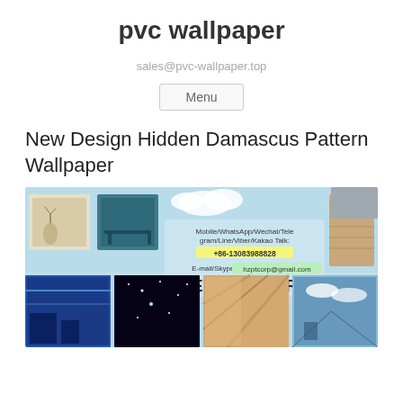pvc wallpaper
sales@pvc-wallpaper.top
Menu
New Design Hidden Damascus Pattern Wallpaper
[Figure (photo): Promotional banner for EVERPOWER PVC wallpaper company showing interior wallpaper samples, contact info including Mobile/WhatsApp/Wechat/Telegram/Line/Viber/Kakao Talk: +86-13083988828, E-mail/Skype: hzptcorp@gmail.com, and the brand name EVERPOWER. Below are four product sample images showing various wallpaper designs including sky, space, geometric, and wood grain patterns.]